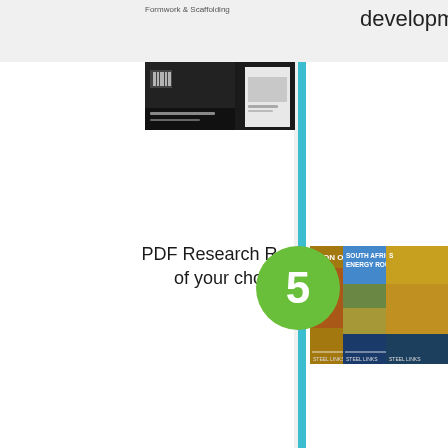development
Formwork & Scaffolding
[Figure (photo): Magazine or brochure cover with dark industrial imagery and barcode]
PDF Research Report of your choice
[Figure (infographic): Green circle with number 5 on teal vertical timeline line]
[Figure (photo): Stack of PDF research report covers: Iron Ore, South Africa Energy Roundup, and a third report]